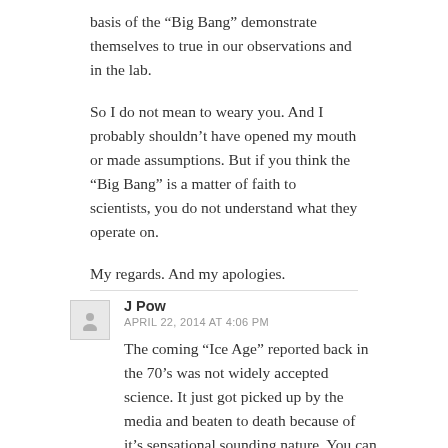basis of the “Big Bang” demonstrate themselves to true in our observations and in the lab.
So I do not mean to weary you. And I probably shouldn’t have opened my mouth or made assumptions. But if you think the “Big Bang” is a matter of faith to scientists, you do not understand what they operate on.
My regards. And my apologies.
J Pow
APRIL 22, 2014 AT 4:06 PM
The coming “Ice Age” reported back in the 70’s was not widely accepted science. It just got picked up by the media and beaten to death because of it’s sensational sounding nature. You can find a nice explanation below.